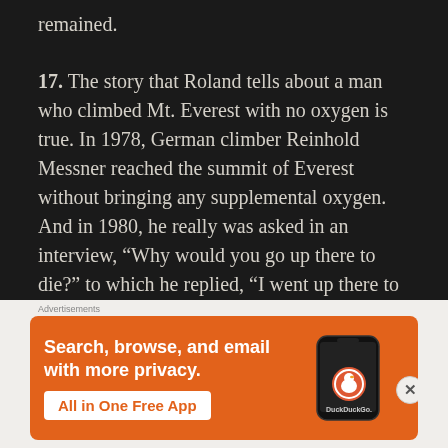remained.
17. The story that Roland tells about a man who climbed Mt. Everest with no oxygen is true. In 1978, German climber Reinhold Messner reached the summit of Everest without bringing any supplemental oxygen. And in 1980, he really was asked in an interview, “Why would you go up there to die?” to which he replied, “I went up there to live.”
18. At the very end of the movie during the CNN broadcast, Steven Spielberg has a brief cameo.
[Figure (screenshot): DuckDuckGo advertisement banner with orange background. Text reads: Search, browse, and email with more privacy. All in One Free App. Shows a phone with the DuckDuckGo app.]